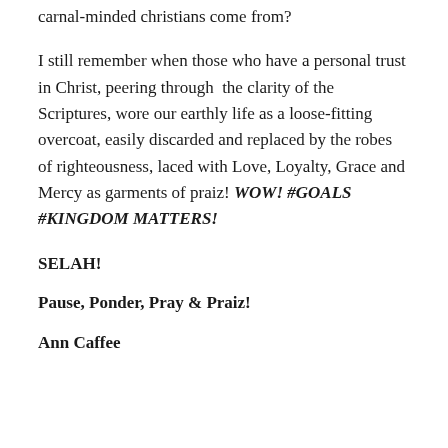carnal-minded christians come from?
I still remember when those who have a personal trust in Christ, peering through the clarity of the Scriptures, wore our earthly life as a loose-fitting overcoat, easily discarded and replaced by the robes of righteousness, laced with Love, Loyalty, Grace and Mercy as garments of praiz! WOW! #GOALS #KINGDOM MATTERS!
SELAH!
Pause, Ponder, Pray & Praiz!
Ann Caffee